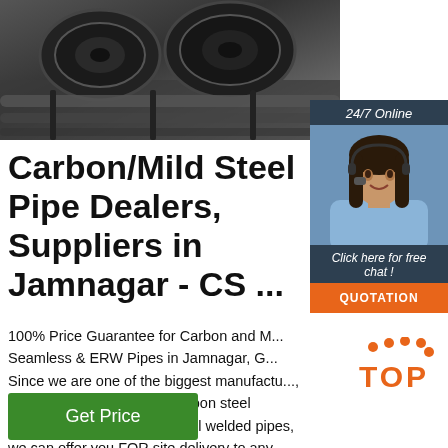[Figure (photo): Industrial steel pipes/coils on a factory floor, dark metallic tones]
[Figure (infographic): 24/7 Online chat widget with female agent photo wearing headset, 'Click here for free chat!' text and orange QUOTATION button]
Carbon/Mild Steel Pipe Dealers, Suppliers in Jamnagar - CS ...
100% Price Guarantee for Carbon and M... Seamless & ERW Pipes in Jamnagar, G... Since we are one of the biggest manufactu... importer and suppliers of carbon steel seamless pipes and mild steel welded pipes, we can offer you FOR site delivery to any location in ...
[Figure (logo): TOP logo with orange dots and orange TOP text]
Get Price